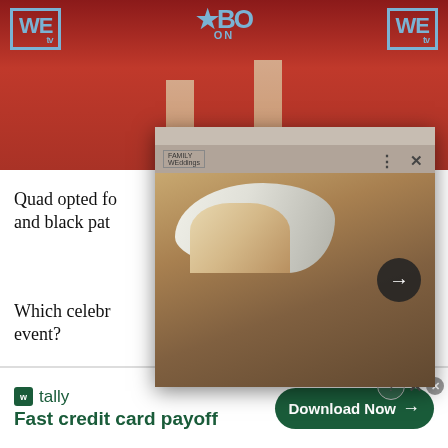[Figure (photo): Red carpet event photo showing legs of attendees with WE TV and BossTV logos in background]
[Figure (screenshot): Popup overlay showing a woman with platinum blonde hair in a tan outfit, with navigation arrow button]
Quad opted fo and black pat
Which celebr event?
[Figure (infographic): Tally app advertisement banner - Fast credit card payoff with Download Now button]